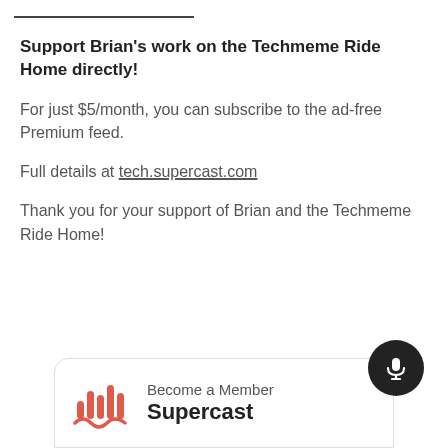Support Brian's work on the Techmeme Ride Home directly!
For just $5/month, you can subscribe to the ad-free Premium feed.
Full details at tech.supercast.com
Thank you for your support of Brian and the Techmeme Ride Home!
[Figure (logo): Supercast 'Become a Member' card with coral/red Supercast logo icon on left, text 'Become a Member' above bold 'Supercast', and a dark circular microphone button on the right.]